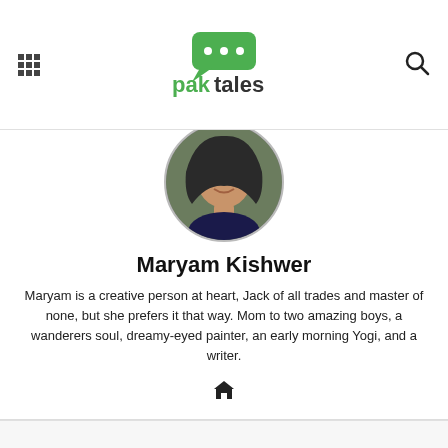paktales
[Figure (photo): Circular profile photo of Maryam Kishwer wearing a hijab, smiling]
Maryam Kishwer
Maryam is a creative person at heart, Jack of all trades and master of none, but she prefers it that way. Mom to two amazing boys, a wanderers soul, dreamy-eyed painter, an early morning Yogi, and a writer.
[Figure (other): Home icon link]
[Figure (other): Bottom section with X symbol]